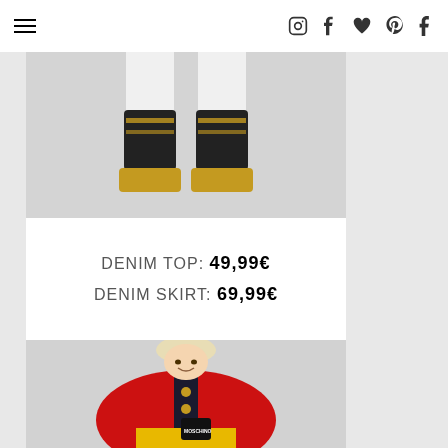Navigation bar with hamburger menu and social icons (Instagram, Facebook, heart/Polyvore, Pinterest, Tumblr)
[Figure (photo): Close-up of a person's lower legs wearing white socks, black and gold platform/chunky ankle boots with yellow soles, against a light grey background]
DENIM TOP: 49,99€
DENIM SKIRT: 69,99€
[Figure (photo): Smiling blonde woman wearing a red cropped puffer jacket with dark navy/black central button placket, yellow high-waisted skirt/shorts, and a small black Moschino bag on a chain, against a light grey background]